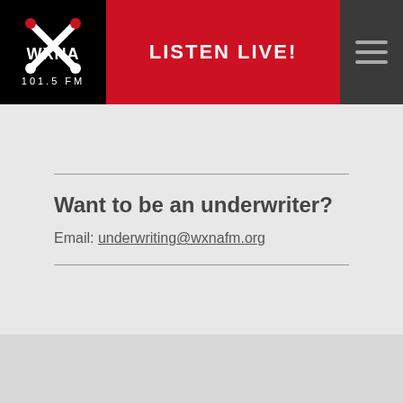WXNA 101.5 FM | LISTEN LIVE!
Want to be an underwriter?
Email: underwriting@wxnafm.org
Have a request?
615-933-WXNA (9962)